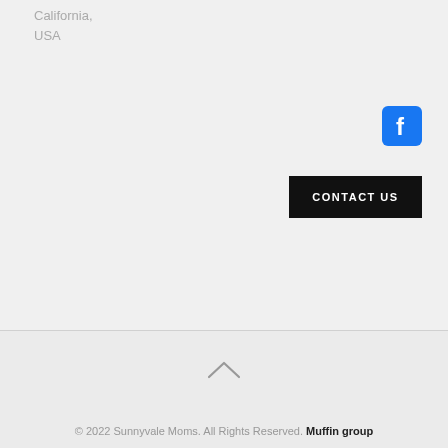California,
USA
[Figure (logo): Facebook icon — blue rounded square with white 'f' letter]
CONTACT US
[Figure (illustration): Up arrow / caret chevron symbol for back to top]
© 2022 Sunnyvale Moms. All Rights Reserved. Muffin group